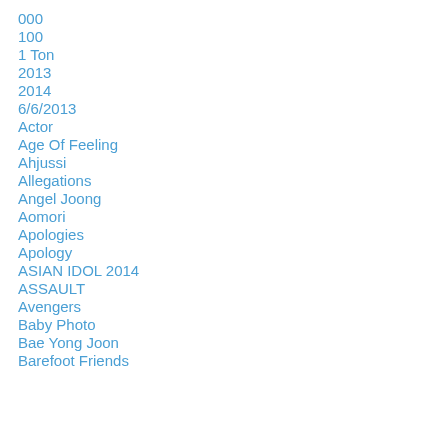000
100
1 Ton
2013
2014
6/6/2013
Actor
Age Of Feeling
Ahjussi
Allegations
Angel Joong
Aomori
Apologies
Apology
ASIAN IDOL 2014
ASSAULT
Avengers
Baby Photo
Bae Yong Joon
Barefoot Friends